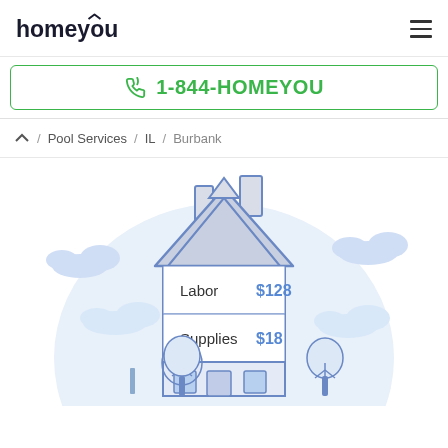homeyou [logo] | hamburger menu
1-844-HOMEYOU
/ Pool Services / IL / Burbank
[Figure (illustration): Illustrated house with blue outline and gray roof. Inside the house body are two rows showing Labor $128 and Supplies $18. Decorative clouds and trees surround the house on a light blue circular background.]